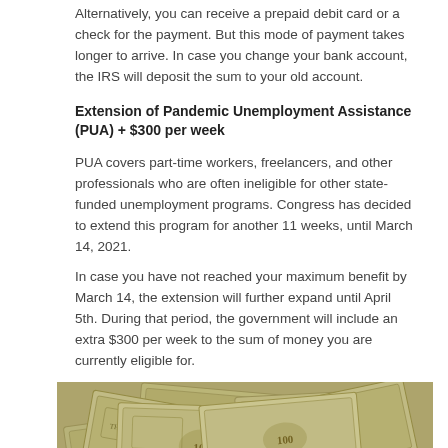Alternatively, you can receive a prepaid debit card or a check for the payment. But this mode of payment takes longer to arrive. In case you change your bank account, the IRS will deposit the sum to your old account.
Extension of Pandemic Unemployment Assistance (PUA) + $300 per week
PUA covers part-time workers, freelancers, and other professionals who are often ineligible for other state-funded unemployment programs. Congress has decided to extend this program for another 11 weeks, until March 14, 2021.
In case you have not reached your maximum benefit by March 14, the extension will further expand until April 5th. During that period, the government will include an extra $300 per week to the sum of money you are currently eligible for.
[Figure (photo): A pile of US $100 dollar bills spread out, photo of cash money]